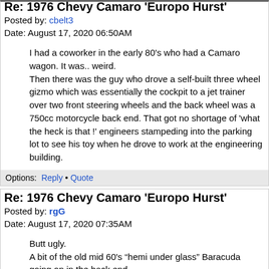Re: 1976 Chevy Camaro 'Europo Hurst'
Posted by: cbelt3
Date: August 17, 2020 06:50AM
I had a coworker in the early 80's who had a Camaro wagon. It was.. weird.
Then there was the guy who drove a self-built three wheel gizmo which was essentially the cockpit to a jet trainer over two front steering wheels and the back wheel was a 750cc motorcycle back end. That got no shortage of 'what the heck is that !' engineers stampeding into the parking lot to see his toy when he drove to work at the engineering building.
Options: Reply • Quote
Re: 1976 Chevy Camaro 'Europo Hurst'
Posted by: rgG
Date: August 17, 2020 07:35AM
Butt ugly.
A bit of the old mid 60's "hemi under glass" Baracuda going on in the back end.
[Figure (photo): Avatar image of a small white teddy bear against a dark/black background]